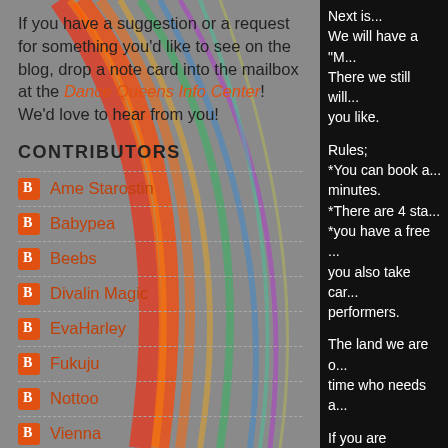If you have a suggestion or a request for something you'd like to see on the blog, drop a note card into the mailbox at the Dance Queens Info Center! We'd love to hear from you!
CONTRIBUTORS
Ame Starostin
Babypea
Beebs
Divalin Magic
EvaHarley
Fukuju
Nottoo
Vienna
Websketch (Web Sass)
Yummy
Next is... We will have a "M... There we still will... you like. Rules; *You can book a... minutes. *There are 4 sta... *you have a free ... you also take car... performers. The land we are o... time who needs a... If you are interes... the time you wish... I will make an up... you will find mo...